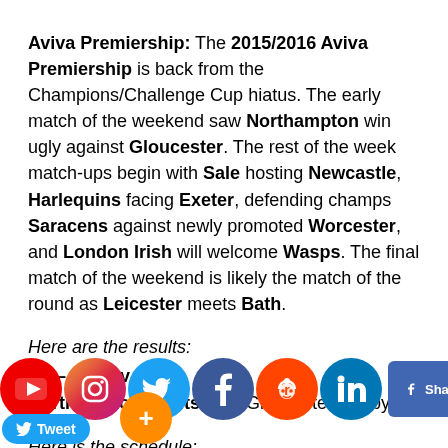Aviva Premiership: The 2015/2016 Aviva Premiership is back from the Champions/Challenge Cup hiatus. The early match of the weekend saw Northampton win ugly against Gloucester. The rest of the week match-ups begin with Sale hosting Newcastle, Harlequins facing Exeter, defending champs Saracens against newly promoted Worcester, and London Irish will welcome Wasps. The final match of the weekend is likely the match of the round as Leicester meets Bath.
Here are the results:
Fri – 27 Nov 2015
Northampton Saints 15-3 Gloucester Rugby
Here is the schedule:
Sat – 28 Nov 2015
Sale Sharks v Newcastle Falcons
Exeter Chiefs v Harlequins
Saracens v Worcester Warriors